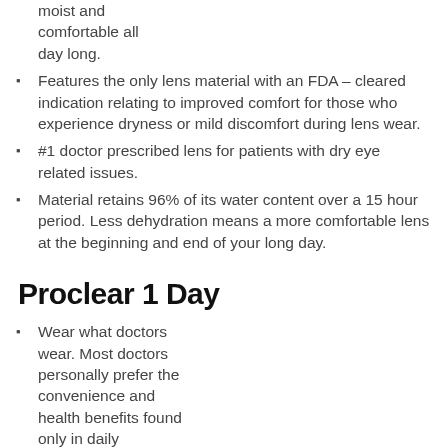moist and comfortable all day long.
Features the only lens material with an FDA – cleared indication relating to improved comfort for those who experience dryness or mild discomfort during lens wear.
#1 doctor prescribed lens for patients with dry eye related issues.
Material retains 96% of its water content over a 15 hour period. Less dehydration means a more comfortable lens at the beginning and end of your long day.
Proclear 1 Day
Wear what doctors wear. Most doctors personally prefer the convenience and health benefits found only in daily